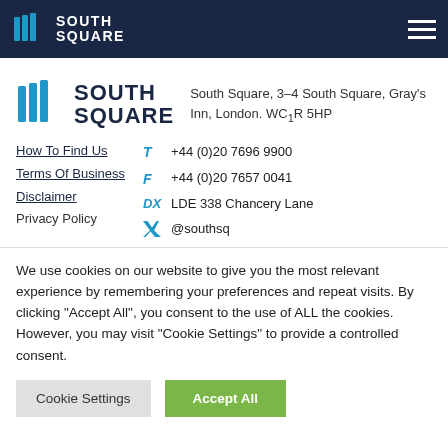SOUTH SQUARE
[Figure (logo): South Square logo with blue stacked book icon and SOUTH SQUARE text in dark navy]
South Square, 3-4 South Square, Gray's Inn, London. WC1R 5HP
How To Find Us
Terms Of Business
Disclaimer
Privacy Policy
T  +44 (0)20 7696 9900
F  +44 (0)20 7657 0041
DX LDE 338 Chancery Lane
@southsq
We use cookies on our website to give you the most relevant experience by remembering your preferences and repeat visits. By clicking "Accept All", you consent to the use of ALL the cookies. However, you may visit "Cookie Settings" to provide a controlled consent.